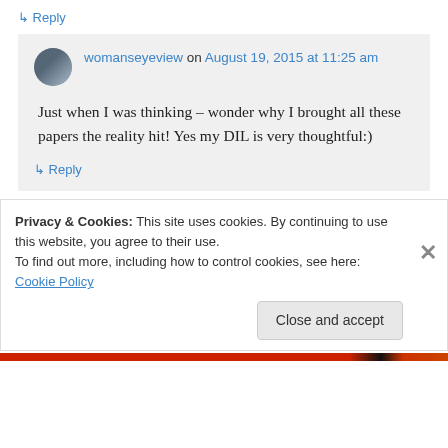↳ Reply
womanseyeview on August 19, 2015 at 11:25 am
Just when I was thinking – wonder why I brought all these papers the reality hit! Yes my DIL is very thoughtful:)
↳ Reply
Privacy & Cookies: This site uses cookies. By continuing to use this website, you agree to their use.
To find out more, including how to control cookies, see here: Cookie Policy
Close and accept